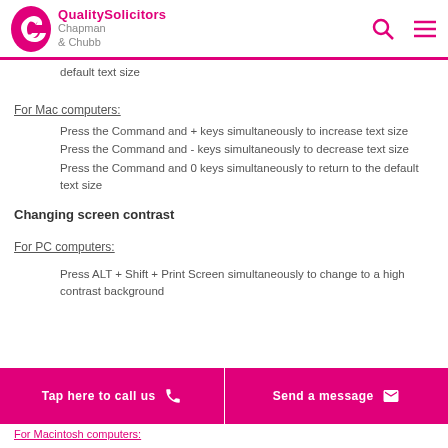QualitySolicitors Chapman & Chubb
default text size
For Mac computers:
Press the Command and + keys simultaneously to increase text size
Press the Command and - keys simultaneously to decrease text size
Press the Command and 0 keys simultaneously to return to the default text size
Changing screen contrast
For PC computers:
Press ALT + Shift + Print Screen simultaneously to change to a high contrast background
Tap here to call us | Send a message | For Macintosh computers: